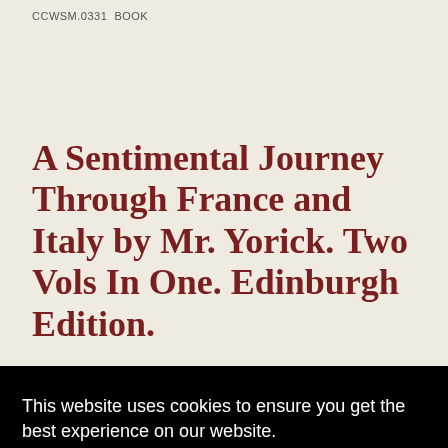CCWSM.0331  BOOK
A Sentimental Journey Through France and Italy by Mr. Yorick. Two Vols In One. Edinburgh Edition.
This volume is fully bound in leather over boards. There are …er, …as
This website uses cookies to ensure you get the best experience on our website. Learn more Got it!